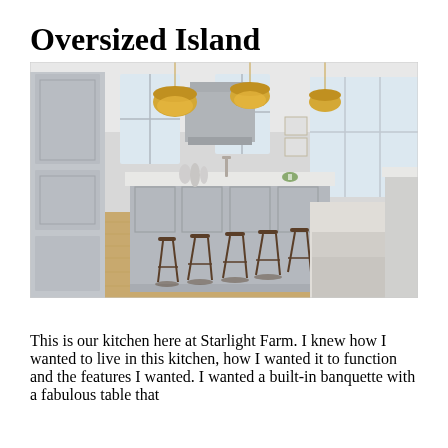Oversized Island
[Figure (photo): A bright, airy kitchen interior at Starlight Farm featuring a large oversized gray-painted island with a white quartz countertop. Five dark wood and metal bar stools line the island. Two large gold dome pendant lights hang above. The kitchen has white cabinetry, wood floors, a range hood, and a built-in banquette dining area visible in the background.]
This is our kitchen here at Starlight Farm. I knew how I wanted to live in this kitchen, how I wanted it to function and the features I wanted. I wanted a built-in banquette with a fabulous table that